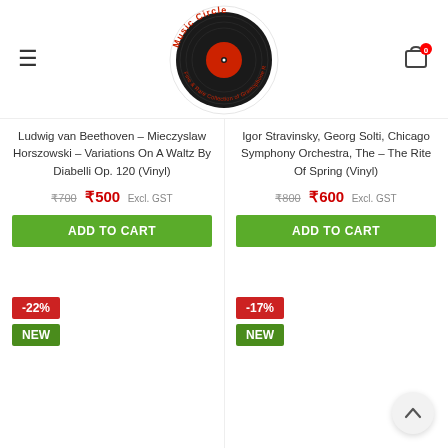[Figure (logo): Music Circle logo — a vinyl record with red center label, surrounded by circular text reading 'Music Circle Fine & Rare Collection of Gramophone Records']
Ludwig van Beethoven – Mieczyslaw Horszowski – Variations On A Waltz By Diabelli Op. 120 (Vinyl)
₹700 ₹500 Excl. GST
ADD TO CART
Igor Stravinsky, Georg Solti, Chicago Symphony Orchestra, The – The Rite Of Spring (Vinyl)
₹800 ₹600 Excl. GST
ADD TO CART
-22%
NEW
-17%
NEW